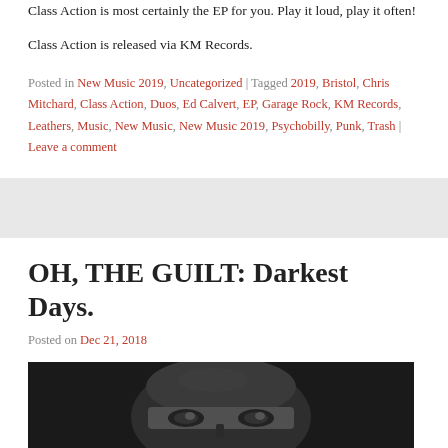Class Action is most certainly the EP for you. Play it loud, play it often!
Class Action is released via KM Records.
Posted in New Music 2019, Uncategorized | Tagged 2019, Bristol, Chris Mitchard, Class Action, Duos, Ed Calvert, EP, Garage Rock, KM Records, Leathers, Music, New Music, New Music 2019, Psychobilly, Punk, Trash | Leave a comment
OH, THE GUILT: Darkest Days.
Posted on Dec 21, 2018
[Figure (photo): Black and white close-up photograph of a person's face, showing mainly the eyes and forehead area, with dark background]